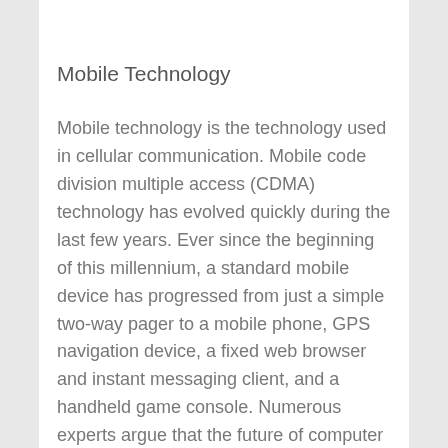Mobile Technology
Mobile technology is the technology used in cellular communication. Mobile code division multiple access (CDMA) technology has evolved quickly during the last few years. Ever since the beginning of this millennium, a standard mobile device has progressed from just a simple two-way pager to a mobile phone, GPS navigation device, a fixed web browser and instant messaging client, and a handheld game console. Numerous experts argue that the future of computer technology is in mobile computing with wireless networking. Mobile computing by way of tablet computers is becoming more